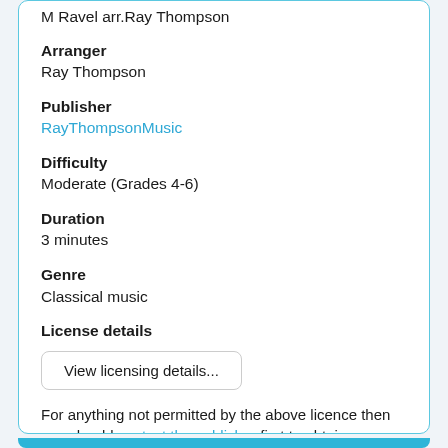M Ravel arr.Ray Thompson
Arranger
Ray Thompson
Publisher
RayThompsonMusic
Difficulty
Moderate (Grades 4-6)
Duration
3 minutes
Genre
Classical music
License details
View licensing details...
For anything not permitted by the above licence then you should contact the publisher first to obtain permission.